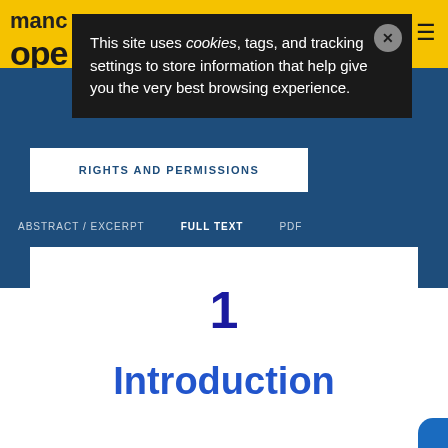manchester open
This site uses cookies, tags, and tracking settings to store information that help give you the very best browsing experience.
RIGHTS AND PERMISSIONS
ABSTRACT / EXCERPT   FULL TEXT   PDF
1
Introduction